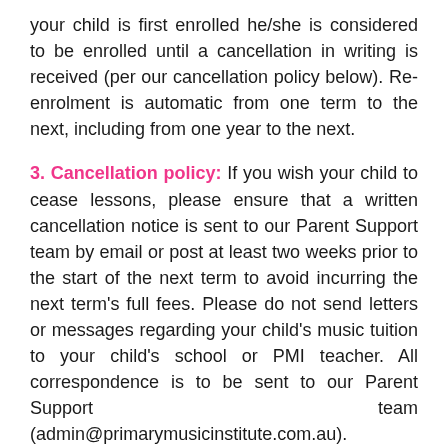your child is first enrolled he/she is considered to be enrolled until a cancellation in writing is received (per our cancellation policy below). Re-enrolment is automatic from one term to the next, including from one year to the next.
3. Cancellation policy: If you wish your child to cease lessons, please ensure that a written cancellation notice is sent to our Parent Support team by email or post at least two weeks prior to the start of the next term to avoid incurring the next term's full fees. Please do not send letters or messages regarding your child's music tuition to your child's school or PMI teacher. All correspondence is to be sent to our Parent Support team (admin@primarymusicinstitute.com.au).
4. Lesson costs: The lesson cost varies depending on the program and lesson